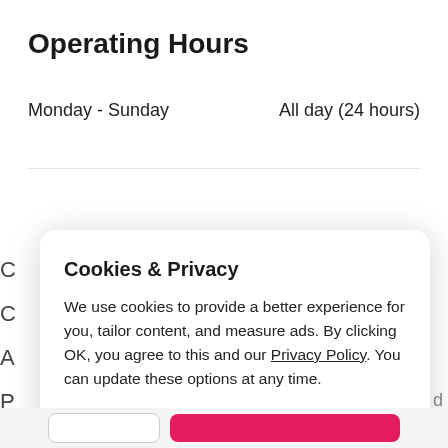Operating Hours
| Day | Hours |
| --- | --- |
| Monday - Sunday | All day (24 hours) |
[Figure (screenshot): Cookie & Privacy modal dialog with 'Cookie Preferences' and 'OK' buttons]
Cookies & Privacy
We use cookies to provide a better experience for you, tailor content, and measure ads. By clicking OK, you agree to this and our Privacy Policy. You can update these options at any time.